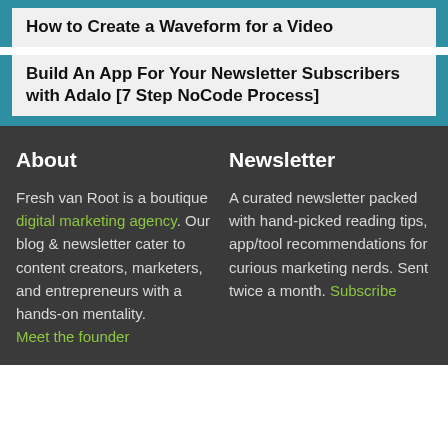How to Create a Waveform for a Video
Build An App For Your Newsletter Subscribers with Adalo [7 Step NoCode Process]
About
Fresh van Root is a boutique digital marketing agency. Our blog & newsletter cater to content creators, marketers, and entrepreneurs with a hands-on mentality. Meet the founder
Newsletter
A curated newsletter packed with hand-picked reading tips, app/tool recommendations for curious marketing nerds. Sent twice a month. Subscribe